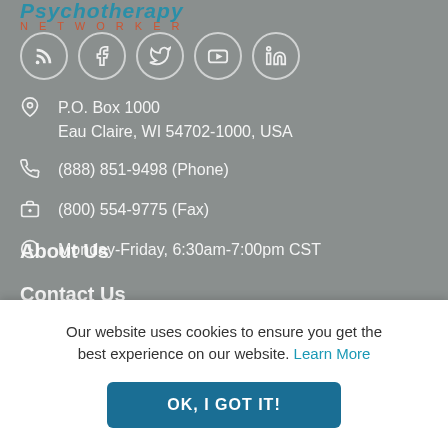Psychotherapy Networker
[Figure (infographic): Row of 5 circular social media icons: RSS, Facebook, Twitter, YouTube, LinkedIn]
P.O. Box 1000
Eau Claire, WI 54702-1000, USA
(888) 851-9498 (Phone)
(800) 554-9775 (Fax)
Monday-Friday, 6:30am-7:00pm CST
About Us
Contact Us
Privacy Policy
Our website uses cookies to ensure you get the best experience on our website. Learn More
OK, I GOT IT!